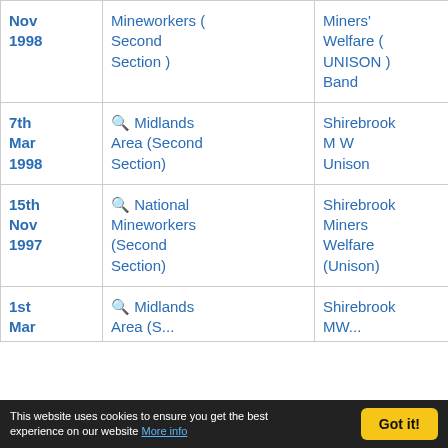| Date | Contest | Band | Pos |
| --- | --- | --- | --- |
| Nov 1998 | Mineworkers ( Second Section ) | Miners' Welfare ( UNISON ) Band |  |
| 7th Mar 1998 | 🔍 Midlands Area (Second Section) | Shirebrook M W Unison | 5 |
| 15th Nov 1997 | 🔍 National Mineworkers (Second Section) | Shirebrook Miners Welfare (Unison) | 8 |
| 1st Mar... | 🔍 Midlands Area (S... | Shirebrook MW... | 7 |
This website uses cookies to ensure you get the best experience on our website More info